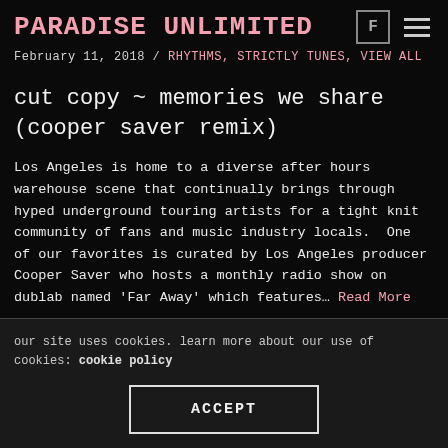PARADISE UNLIMITED
February 11, 2018 / RHYTHMS, STRICTLY TUNES, VIEW ALL
cut copy ~ memories we share (cooper saver remix)
Los Angeles is home to a diverse after hours warehouse scene that continually brings through hyped underground touring artists for a tight knit community of fans and music industry locals.  One of our favorites is curated by Los Angeles producer Cooper Saver who hosts a monthly radio show on dublab named 'Far Away' which features… Read More
our site uses cookies. learn more about our use of cookies: cookie policy
ACCEPT